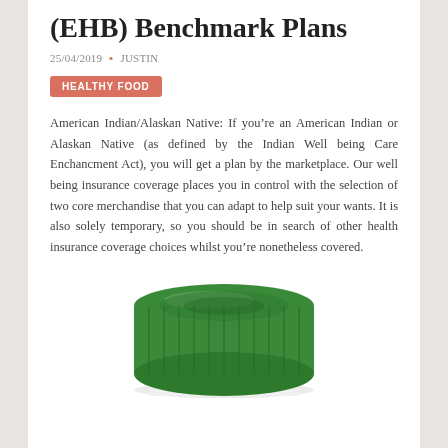(EHB) Benchmark Plans
25/04/2019 ▪ JUSTIN
HEALTHY FOOD
American Indian/Alaskan Native: If you’re an American Indian or Alaskan Native (as defined by the Indian Well being Care Enchancment Act), you will get a plan by the marketplace. Our well being insurance coverage places you in control with the selection of two core merchandise that you can adapt to help suit your wants. It is also solely temporary, so you should be in search of other health insurance coverage choices whilst you’re nonetheless covered.
[Figure (photo): A green pill bottle cap viewed from slightly above, top-down perspective showing a round green ridged cap with a white bottle body partially visible below.]